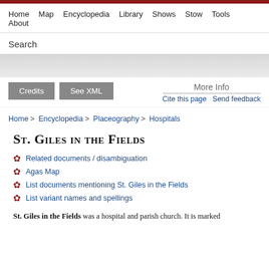Home  Map  Encyclopedia  Library  Shows  Stow  Tools  About
Search
Credits  See XML  More Info  Cite this page  Send feedback
Home > Encyclopedia > Placeography > Hospitals
St. Giles in the Fields
Related documents / disambiguation
Agas Map
List documents mentioning St. Giles in the Fields
List variant names and spellings
St. Giles in the Fields was a hospital and parish church. It is marked